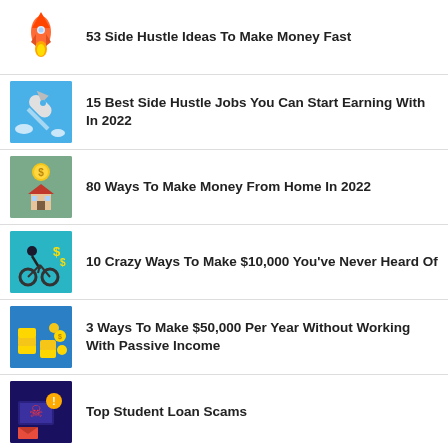53 Side Hustle Ideas To Make Money Fast
15 Best Side Hustle Jobs You Can Start Earning With In 2022
80 Ways To Make Money From Home In 2022
10 Crazy Ways To Make $10,000 You've Never Heard Of
3 Ways To Make $50,000 Per Year Without Working With Passive Income
Top Student Loan Scams